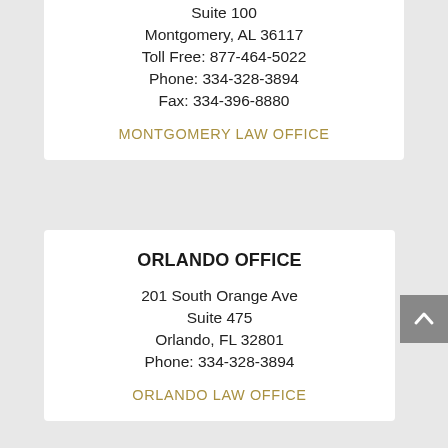Suite 100
Montgomery, AL 36117
Toll Free: 877-464-5022
Phone: 334-328-3894
Fax: 334-396-8880
MONTGOMERY LAW OFFICE
ORLANDO OFFICE
201 South Orange Ave
Suite 475
Orlando, FL 32801
Phone: 334-328-3894
ORLANDO LAW OFFICE